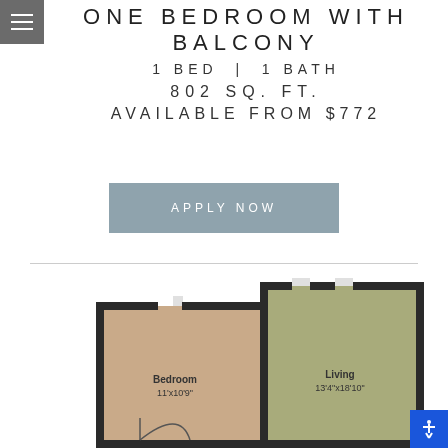ONE BEDROOM WITH BALCONY
1 BED | 1 BATH
802 SQ. FT.
AVAILABLE FROM $772
APPLY NOW
[Figure (schematic): Apartment floor plan showing Bedroom 11'x10'9" and Living 13'4"x18'10" rooms with walls rendered in black outline and rooms filled with tan and olive-green colors respectively]